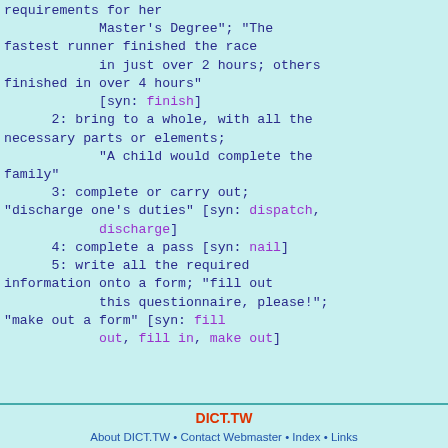requirements for her
            Master's Degree"; "The fastest runner finished the race
            in just over 2 hours; others finished in over 4 hours"
            [syn: finish]
      2: bring to a whole, with all the necessary parts or elements;
            "A child would complete the family"
      3: complete or carry out;
"discharge one's duties" [syn: dispatch, discharge]
      4: complete a pass [syn: nail]
      5: write all the required information onto a form; "fill out
            this questionnaire, please!";
"make out a form" [syn: fill out, fill in, make out]
DICT.TW
About DICT.TW • Contact Webmaster • Index • Links